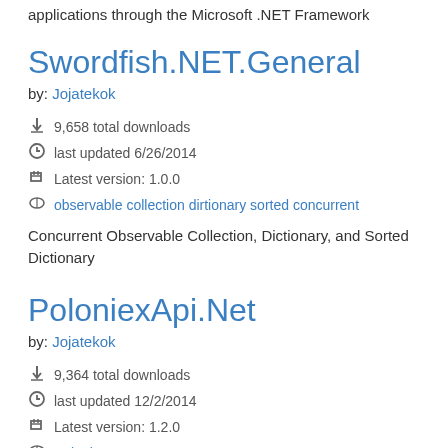applications through the Microsoft .NET Framework
Swordfish.NET.General
by: Jojatekok
9,658 total downloads
last updated 6/26/2014
Latest version: 1.0.0
observable collection dirtionary sorted concurrent
Concurrent Observable Collection, Dictionary, and Sorted Dictionary
PoloniexApi.Net
by: Jojatekok
9,364 total downloads
last updated 12/2/2014
Latest version: 1.2.0
Poloniex API
Application Programming Interface for data transmission and retrieval from Poloniex through the Microsoft .NET